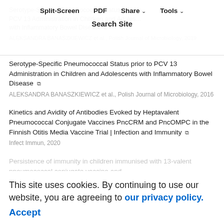Split-Screen | PDF | Share | Tools | Search Site
Serotype-Specific Pneumococcal Status prior to PCV 13 Administration in Children and Adolescents with Inflammatory Bowel Disease
ALEKSANDRA BANASZKIEWICZ et al., Polish Journal of Microbiology, 2016
Kinetics and Avidity of Antibodies Evoked by Heptavalent Pneumococcal Conjugate Vaccines PncCRM and PncOMPC in the Finnish Otitis Media Vaccine Trial | Infection and Immunity
Infect Immun, 2020
Persistence of immunity in children immunised with 13-valent pneumococcal conjugate vaccine and impact on nasopharyngeal carriage: a cross-sectional study
This site uses cookies. By continuing to use our website, you are agreeing to our privacy policy. Accept